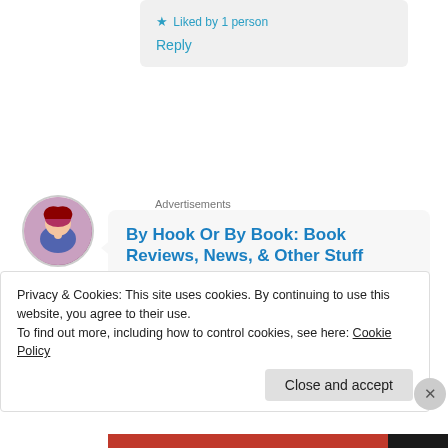★ Liked by 1 person
Reply
Advertisements
[Figure (illustration): Circular avatar image of an animated character with red hair reading a book]
By Hook Or By Book: Book Reviews, News, & Other Stuff
November 18, 2020 at 3:47 pm

This sounds adorable!
Privacy & Cookies: This site uses cookies. By continuing to use this website, you agree to their use.
To find out more, including how to control cookies, see here: Cookie Policy
Close and accept